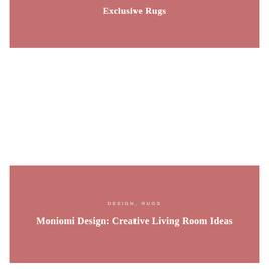Exclusive Rugs
[Figure (illustration): White space / image placeholder area between two cards]
DESIGN, RUGS
Moniomi Design: Creative Living Room Ideas